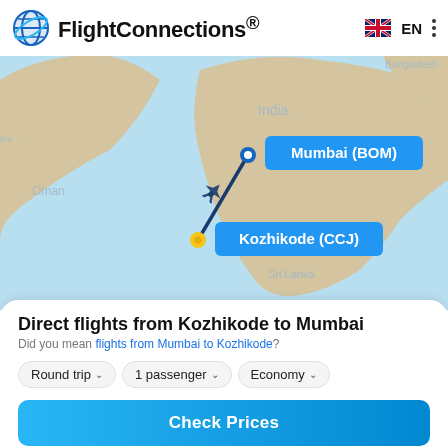FlightConnections® EN
[Figure (map): Map showing India, Oman, Sri Lanka, Bangladesh region with a flight route drawn as a dark blue diagonal line from Mumbai (BOM) at top to Kozhikode (CCJ) at bottom-left. Mumbai marked with blue dot and labeled in blue tooltip box. Kozhikode marked with yellow/gold dot and labeled in blue tooltip box. Airplane icon shown along the route. Background is light blue (ocean) and tan/beige (land).]
Direct flights from Kozhikode to Mumbai
Did you mean flights from Mumbai to Kozhikode?
Round trip ∨
1 passenger ∨
Economy ∨
Check Prices